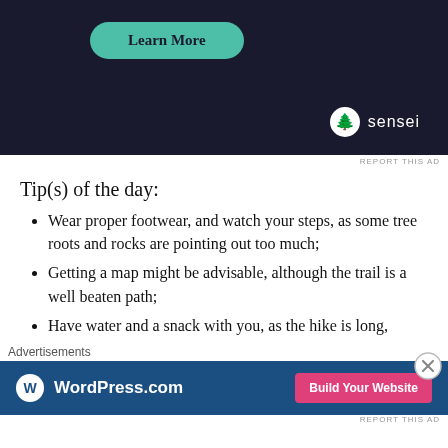[Figure (screenshot): Dark background advertisement with a teal 'Learn More' button and Sensei logo in the bottom right corner]
REPORT THIS AD
Tip(s) of the day:
Wear proper footwear, and watch your steps, as some tree roots and rocks are pointing out too much;
Getting a map might be advisable, although the trail is a well beaten path;
Have water and a snack with you, as the hike is long,
Advertisements
[Figure (screenshot): WordPress.com advertisement banner with blue background and pink 'Build Your Website' button]